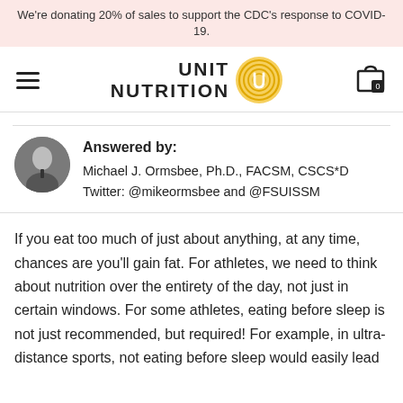We're donating 20% of sales to support the CDC's response to COVID-19.
[Figure (logo): Unit Nutrition logo with hamburger menu icon on left and cart icon on right]
Answered by:
Michael J. Ormsbee, Ph.D., FACSM, CSCS*D
Twitter: @mikeormsbee and @FSUISSM
If you eat too much of just about anything, at any time, chances are you'll gain fat. For athletes, we need to think about nutrition over the entirety of the day, not just in certain windows. For some athletes, eating before sleep is not just recommended, but required! For example, in ultra-distance sports, not eating before sleep would easily lead